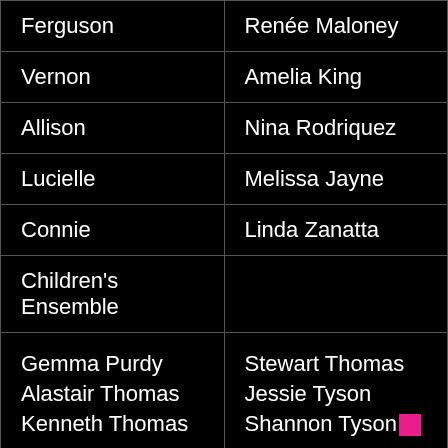| Role | Actor |
| --- | --- |
| Ferguson | Renée Maloney |
| Vernon | Amelia King |
| Allison | Nina Rodriquez |
| Lucielle | Melissa Jayne |
| Connie | Linda Zanatta |
| Children's Ensemble |  |
| Gemma Purdy
Alastair Thomas
Kenneth Thomas | Stewart Thomas
Jessie Tyson
Shannon Tyson |